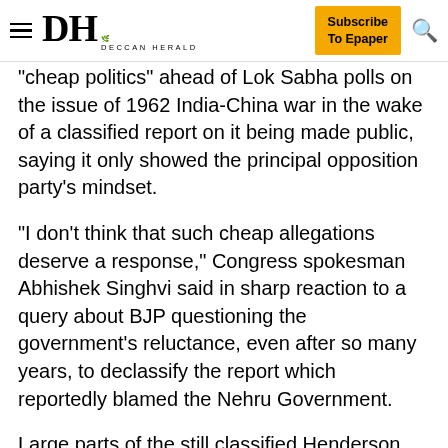DH DECCAN HERALD | Subscribe To Epaper
'cheap politics' ahead of Lok Sabha polls on the issue of 1962 India-China war in the wake of a classified report on it being made public, saying it only showed the principal opposition party's mindset.
"I don't think that such cheap allegations deserve a response," Congress spokesman Abhishek Singhvi said in sharp reaction to a query about BJP questioning the government's reluctance, even after so many years, to declassify the report which reportedly blamed the Nehru Government.
Large parts of the still classified Henderson Brooks Report on India's debacle has been made public online by